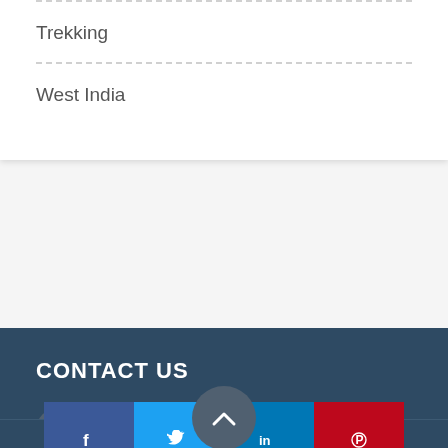Trekking
West India
CONTACT US
letstourbharat@gmail.com
[Figure (other): Social media icons: Facebook, Twitter, Google+, Pinterest, LinkedIn, Instagram]
© Lets... rserved.
[Figure (other): Bottom share bar with Facebook, Twitter, LinkedIn, Pinterest icons]